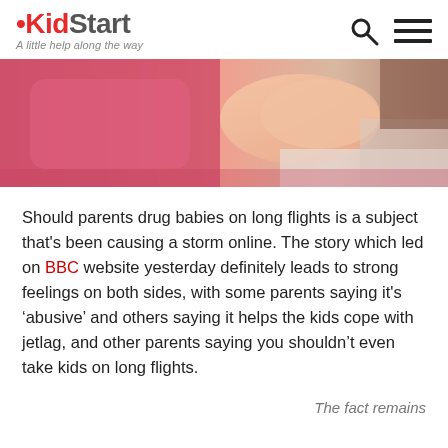[Figure (logo): KidStart logo with tagline 'A little help along the way']
[Figure (photo): Close-up photo of a baby/child lying down, wearing pink clothing, on white bedding]
Should parents drug babies on long flights is a subject that's been causing a storm online. The story which led on BBC website yesterday definitely leads to strong feelings on both sides, with some parents saying it's 'abusive' and others saying it helps the kids cope with jetlag, and other parents saying you shouldn't even take kids on long flights.
The fact remains